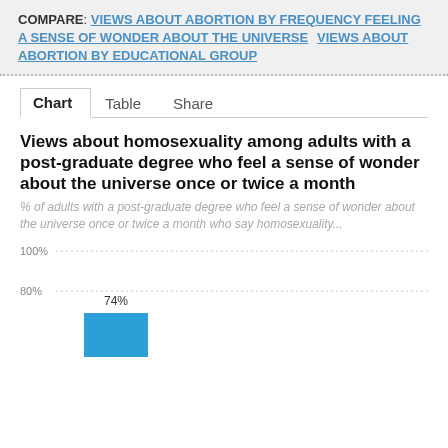COMPARE: VIEWS ABOUT ABORTION BY FREQUENCY FEELING A SENSE OF WONDER ABOUT THE UNIVERSE  VIEWS ABOUT ABORTION BY EDUCATIONAL GROUP
Views about homosexuality among adults with a post-graduate degree who feel a sense of wonder about the universe once or twice a month
% of adults with a post-graduate degree who feel a sense of wonder about the universe once or twice a month who say homosexuality...
[Figure (bar-chart): Views about homosexuality]